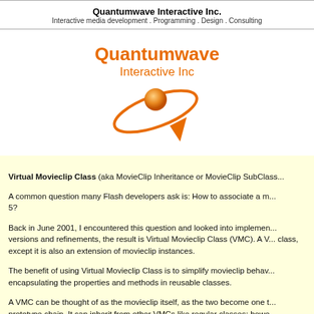Quantumwave Interactive Inc.
Interactive media development . Programming . Design . Consulting
[Figure (logo): Quantumwave Interactive Inc. logo with orange text and orbital graphic with sphere and arrow]
Virtual Movieclip Class (aka MovieClip Inheritance or MovieClip SubClass...)

A common question many Flash developers ask is: How to associate a m... 5?

Back in June 2001, I encountered this question and looked into implemen... versions and refinements, the result is Virtual Movieclip Class (VMC). A V... class, except it is also an extension of movieclip instances.

The benefit of using Virtual Movieclip Class is to simplify movieclip behav... encapsulating the properties and methods in reusable classes.

A VMC can be thought of as the movieclip itself, as the two become one t... prototype chain. It can inherit from other VMCs like regular classes; howe... instantiate from a VMC. The class properties and methods become the m...